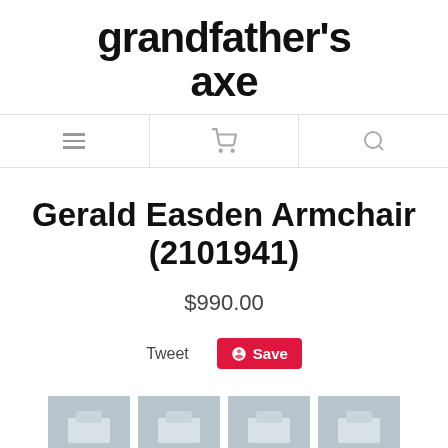grandfather's axe
[Figure (screenshot): Navigation bar with menu (hamburger), cart, and search icons]
Gerald Easden Armchair (2101941)
$990.00
Tweet  Save
[Figure (photo): Four product thumbnail images of the armchair at the bottom of the page]